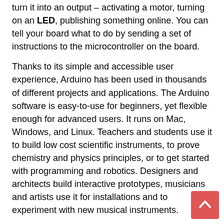turn it into an output – activating a motor, turning on an LED, publishing something online. You can tell your board what to do by sending a set of instructions to the microcontroller on the board.
Thanks to its simple and accessible user experience, Arduino has been used in thousands of different projects and applications. The Arduino software is easy-to-use for beginners, yet flexible enough for advanced users. It runs on Mac, Windows, and Linux. Teachers and students use it to build low cost scientific instruments, to prove chemistry and physics principles, or to get started with programming and robotics. Designers and architects build interactive prototypes, musicians and artists use it for installations and to experiment with new musical instruments.
Inexpensive – Arduino boards are relatively inexpensive compared to other microcontroller platforms. The least expensive version of the Arduino module can be assembled by hand, and even the pre-assembled Arduino modules cost less than $50